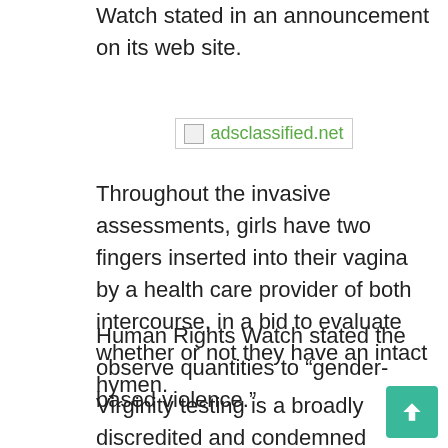Watch stated in an announcement on its web site.
[Figure (other): Broken image placeholder with text 'adsclassified.net' in green]
Throughout the invasive assessments, girls have two fingers inserted into their vagina by a health care provider of both intercourse, in a bid to evaluate whether or not they have an intact hymen.
Human Rights Watch stated the observe quantities to “gender-based violence.”
Virginity testing is a broadly discredited and condemned observe that the World